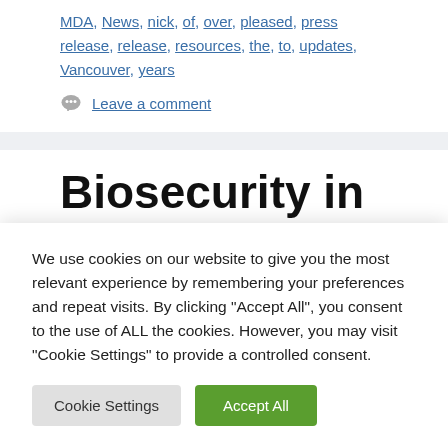MDA, News, nick, of, over, pleased, press release, release, resources, the, to, updates, Vancouver, years
Leave a comment
Biosecurity in the Age of...
We use cookies on our website to give you the most relevant experience by remembering your preferences and repeat visits. By clicking "Accept All", you consent to the use of ALL the cookies. However, you may visit "Cookie Settings" to provide a controlled consent.